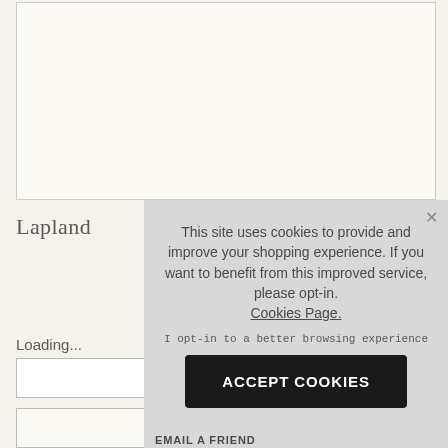[Figure (other): Empty cream/off-white rectangular area with a thin border, representing an image placeholder area at the top of the page.]
Lapland
Loading...
[Figure (screenshot): Cookie consent overlay popup with gray background. Contains text: 'This site uses cookies to provide and improve your shopping experience. If you want to benefit from this improved service, please opt-in. Cookies Page.' followed by 'I opt-in to a better browsing experience' and a dark 'ACCEPT COOKIES' button. An X close button is in the top right corner.]
EMAIL A FRIEND